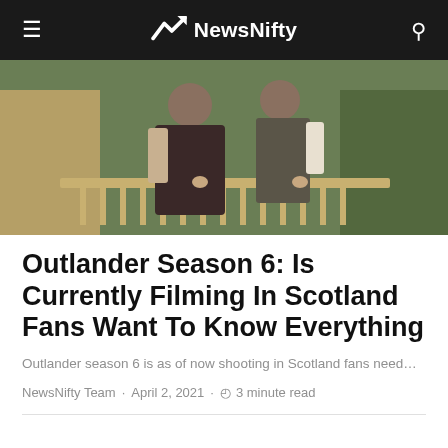NewsNifty
[Figure (photo): Two people in period costume standing on a wooden porch railing, surrounded by greenery — scene from Outlander TV show]
Outlander Season 6: Is Currently Filming In Scotland Fans Want To Know Everything
Outlander season 6 is as of now shooting in Scotland fans need…
NewsNifty Team · April 2, 2021 · 3 minute read